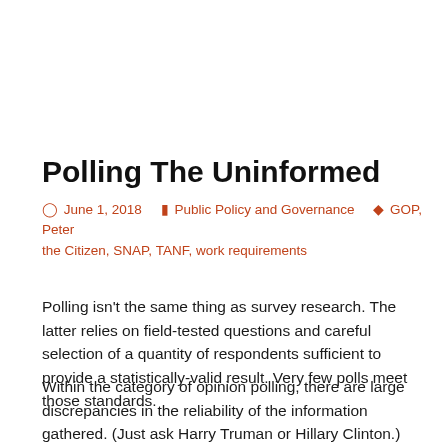Polling The Uninformed
June 1, 2018   Public Policy and Governance   GOP, Peter the Citizen, SNAP, TANF, work requirements
Polling isn't the same thing as survey research. The latter relies on field-tested questions and careful selection of a quantity of respondents sufficient to provide a statistically-valid result. Very few polls meet those standards.
Within the category of opinion polling, there are large discrepancies in the reliability of the information gathered. (Just ask Harry Truman or Hillary Clinton.) Some of those discrepancies have to do with bad faith, but the effects of those are swamped by those that stem from the public's lack of information.